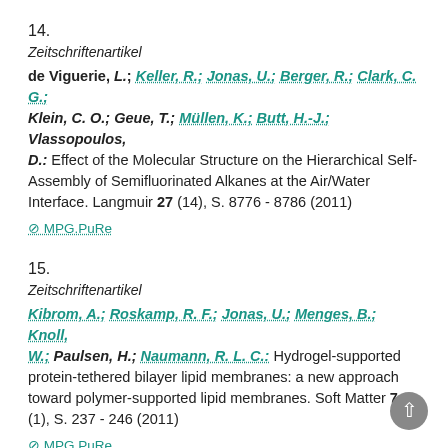14.
Zeitschriftenartikel
de Viguerie, L.; Keller, R.; Jonas, U.; Berger, R.; Clark, C. G.; Klein, C. O.; Geue, T.; Müllen, K.; Butt, H.-J.; Vlassopoulos, D.: Effect of the Molecular Structure on the Hierarchical Self-Assembly of Semifluorinated Alkanes at the Air/Water Interface. Langmuir 27 (14), S. 8776 - 8786 (2011)
⊘ MPG.PuRe
15.
Zeitschriftenartikel
Kibrom, A.; Roskamp, R. F.; Jonas, U.; Menges, B.; Knoll, W.; Paulsen, H.; Naumann, R. L. C.: Hydrogel-supported protein-tethered bilayer lipid membranes: a new approach toward polymer-supported lipid membranes. Soft Matter 7 (1), S. 237 - 246 (2011)
⊘ MPG.PuRe